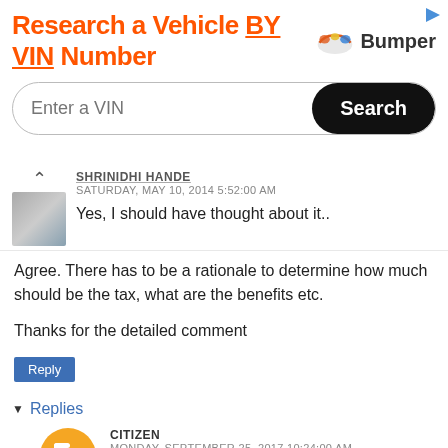[Figure (screenshot): Advertisement banner: 'Research a Vehicle BY VIN Number' with Bumper logo, VIN input field, and Search button]
SHRINIDHI HANDE
SATURDAY, MAY 10, 2014 5:52:00 AM
Yes, I should have thought about it..
Agree. There has to be a rationale to determine how much should be the tax, what are the benefits etc.
Thanks for the detailed comment
Reply
Replies
CITIZEN
MONDAY, SEPTEMBER 25, 2017 10:24:00 AM
Hi Shrinidhi,I am planning to buy a Bolero power+, But I am confused , as my purpose of buying it is for both commercial(tourist purpose) and personal use. And for this I have to go for a yellow number plate registration, but reading all